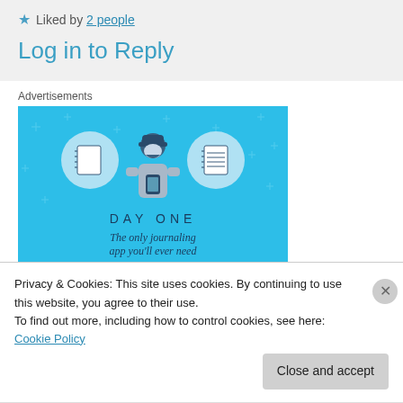★ Liked by 2 people
Log in to Reply
Advertisements
[Figure (illustration): Day One journaling app advertisement banner. Blue background with sparkle stars, illustration of a person holding a phone, flanked by two circular icons: a blank notebook and a lined notebook. Text reads 'DAY ONE' and 'The only journaling']
Privacy & Cookies: This site uses cookies. By continuing to use this website, you agree to their use.
To find out more, including how to control cookies, see here: Cookie Policy
Close and accept